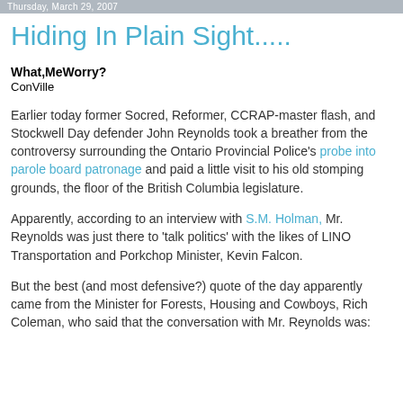Thursday, March 29, 2007
Hiding In Plain Sight.....
What,MeWorry?
ConVille
Earlier today former Socred, Reformer, CCRAP-master flash, and Stockwell Day defender John Reynolds took a breather from the controversy surrounding the Ontario Provincial Police's probe into parole board patronage and paid a little visit to his old stomping grounds, the floor of the British Columbia legislature.
Apparently, according to an interview with S.M. Holman, Mr. Reynolds was just there to 'talk politics' with the likes of LINO Transportation and Porkchop Minister, Kevin Falcon.
But the best (and most defensive?) quote of the day apparently came from the Minister for Forests, Housing and Cowboys, Rich Coleman, who said that the conversation with Mr. Reynolds was: